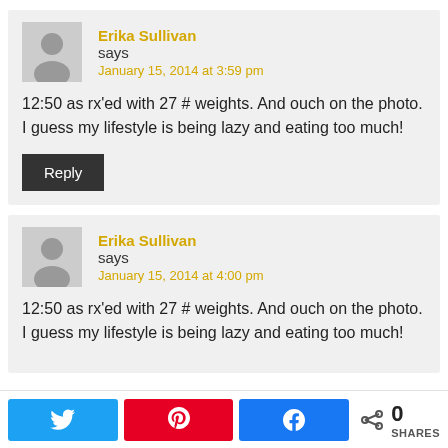Erika Sullivan says
January 15, 2014 at 3:59 pm
12:50 as rx'ed with 27 # weights. And ouch on the photo. I guess my lifestyle is being lazy and eating too much!
Reply
Erika Sullivan says
January 15, 2014 at 4:00 pm
12:50 as rx'ed with 27 # weights. And ouch on the photo. I guess my lifestyle is being lazy and eating too much!
0 SHARES